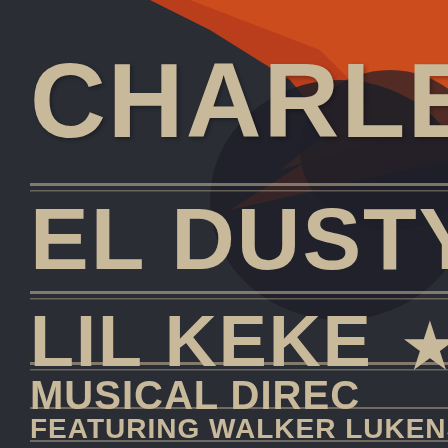[Figure (illustration): Concert/event poster with dark navy background, large orange-red decorative shape at upper right, featuring bold cream/tan text listing performer names and credits. Shows partial text: CHARLE[S], EL DUSTY, LIL KEKE with a star, MUSICAL DIREC[TOR], FEATURING WALKER LUKENS]